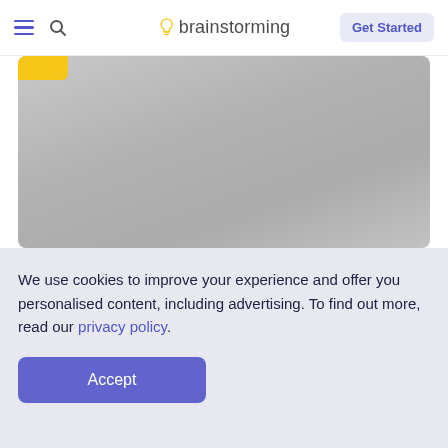brainstorming — Get Started
[Figure (photo): Blurred grey hero image with a yellow tag in the top-left corner]
By Darko Savic
A platform where crowdfunded bounties are paid to people who translate scientific papers for general public
We use cookies to improve your experience and offer you personalised content, including advertising. To find out more, read our privacy policy.
Accept